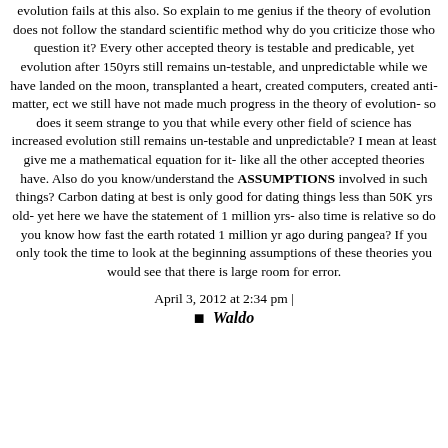evolution fails at this also. So explain to me genius if the theory of evolution does not follow the standard scientific method why do you criticize those who question it? Every other accepted theory is testable and predicable, yet evolution after 150yrs still remains un-testable, and unpredictable while we have landed on the moon, transplanted a heart, created computers, created anti-matter, ect we still have not made much progress in the theory of evolution- so does it seem strange to you that while every other field of science has increased evolution still remains un-testable and unpredictable? I mean at least give me a mathematical equation for it- like all the other accepted theories have. Also do you know/understand the ASSUMPTIONS involved in such things? Carbon dating at best is only good for dating things less than 50K yrs old- yet here we have the statement of 1 million yrs- also time is relative so do you know how fast the earth rotated 1 million yr ago during pangea? If you only took the time to look at the beginning assumptions of these theories you would see that there is large room for error.
April 3, 2012 at 2:34 pm |
Waldo